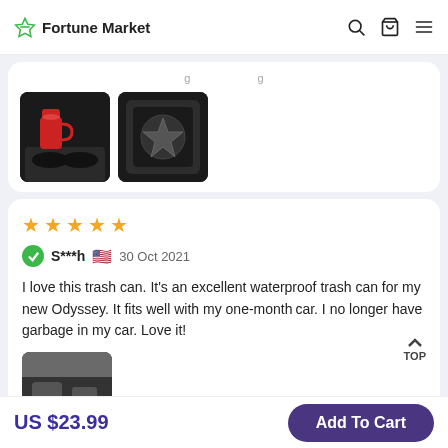Fortune Market
[Figure (photo): Two product photos showing a car cup holder insert with a red mug, and a car cup holder insert top view]
★★★★★
S***h 🇺🇸 30 Oct 2021
I love this trash can. It's an excellent waterproof trash can for my new Odyssey. It fits well with my one-month car. I no longer have garbage in my car. Love it!
[Figure (photo): Partial photo of a car interior, bottom of review]
US $23.99
Add To Cart